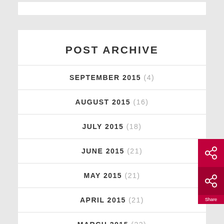POST ARCHIVE
SEPTEMBER 2015 (4)
AUGUST 2015 (16)
JULY 2015 (18)
JUNE 2015 (21)
MAY 2015 (21)
APRIL 2015 (21)
MARCH 2015 (22)
FEBRUARY 2015 (20)
JANUARY 2015 (22)
DECEMBER 2014 (21)